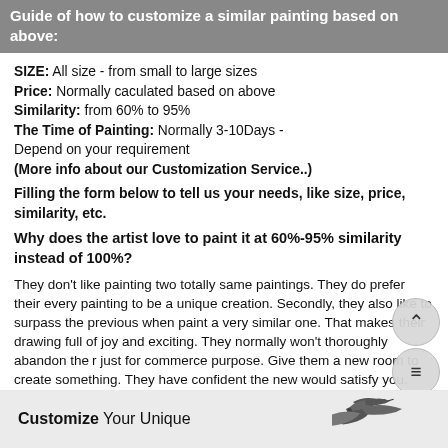Guide of how to customize a similar painting based on above:
SIZE: All size - from small to large sizes
Price: Normally caculated based on above
Similarity: from 60% to 95%
The Time of Painting: Normally 3-10Days - Depend on your requirement
(More info about our Customization Service..)
Filling the form below to tell us your needs, like size, price, similarity, etc.
Why does the artist love to paint it at 60%-95% similarity instead of 100%?
They don't like painting two totally same paintings. They do prefer their every painting to be a unique creation. Secondly, they also like to surpass the previous when paint a very similar one. That makes their drawing full of joy and exciting. They normally won't thoroughly abandon their just for commerce purpose. Give them a new room to create something. They have confident the new would satisfy you.
[Figure (illustration): Bottom banner with customize your unique text and bird illustration]
Customize Your Unique